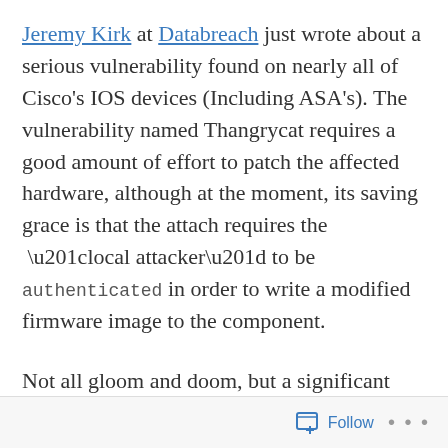Jeremy Kirk at Databreach just wrote about a serious vulnerability found on nearly all of Cisco's IOS devices (Including ASA's). The vulnerability named Thangrycat requires a good amount of effort to patch the affected hardware, although at the moment, its saving grace is that the attach requires the “local attacker” to be authenticated in order to write a modified firmware image to the component.

Not all gloom and doom, but a significant find!
Follow ...